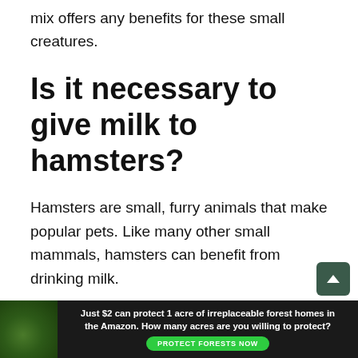mix offers any benefits for these small creatures.
Is it necessary to give milk to hamsters?
Hamsters are small, furry animals that make popular pets. Like many other small mammals, hamsters can benefit from drinking milk.
Milk provides essential nutrients like calcium and protein, which can help to keep your hamster's bones strong. It can also help to treat the
[Figure (other): Advertisement banner: green forest background with image of animal in leaves. Text reads 'Just $2 can protect 1 acre of irreplaceable forest homes in the Amazon. How many acres are you willing to protect?' with a green 'PROTECT FORESTS NOW' button.]